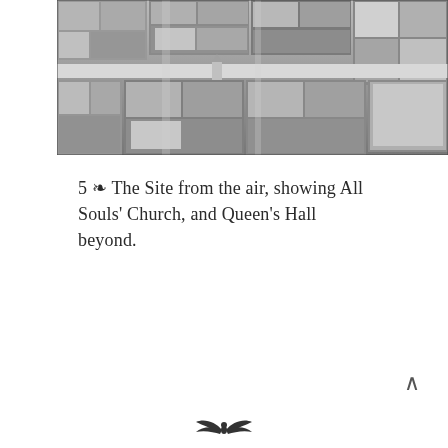[Figure (photo): Aerial black-and-white photograph of a city block showing rooftops, streets, All Souls' Church, and Queen's Hall beyond.]
5 ❧ The Site from the air, showing All Souls' Church, and Queen's Hall beyond.
[Figure (logo): Small decorative publisher's emblem or logo at the bottom center of the page.]